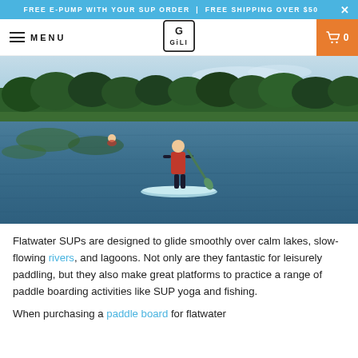FREE E-PUMP WITH YOUR SUP ORDER | FREE SHIPPING OVER $50
MENU | GILI logo | cart 0
[Figure (photo): Person standing on a paddleboard (SUP) on a calm lake surrounded by green trees, with another person visible in the background swimming. Taken on a bright day with blue sky.]
Flatwater SUPs are designed to glide smoothly over calm lakes, slow-flowing rivers, and lagoons. Not only are they fantastic for leisurely paddling, but they also make great platforms to practice a range of paddle boarding activities like SUP yoga and fishing.
When purchasing a paddle board for flatwater